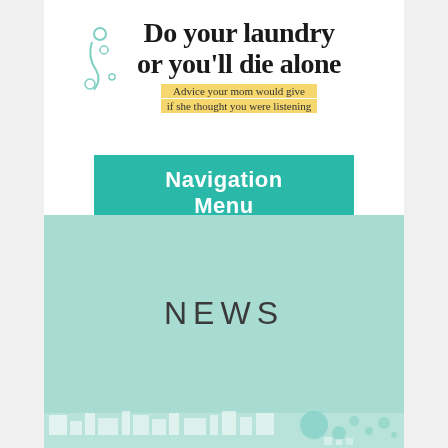[Figure (logo): Logo graphic: handwritten text 'Do your laundry or you'll die alone' with teal swirl decorations and yellow highlighted subtitle 'Advice your mom would give if she thought you were listening']
Navigation Menu
NEWS
[Figure (illustration): Decorative bottom pattern with teal icons including circles, dots and abstract shapes on lighter teal background]